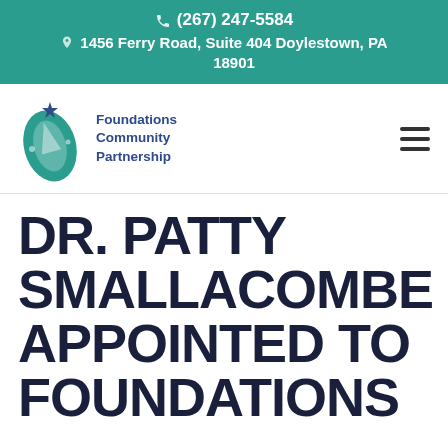(267) 247-5584  1456 Ferry Road, Suite 404 Doylestown, PA 18901
[Figure (logo): Foundations Community Partnership logo with teal rocket/leaf icon and blue text]
DR. PATTY SMALLACOMBE APPOINTED TO FOUNDATIONS